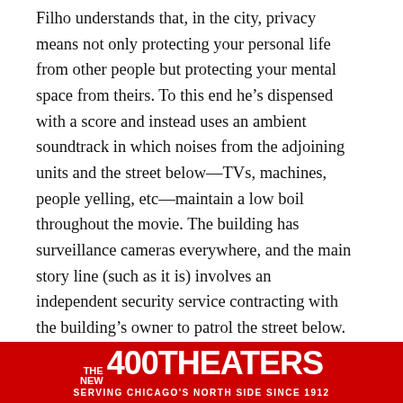Filho understands that, in the city, privacy means not only protecting your personal life from other people but protecting your mental space from theirs. To this end he’s dispensed with a score and instead uses an ambient soundtrack in which noises from the adjoining units and the street below—TVs, machines, people yelling, etc—maintain a low boil throughout the movie. The building has surveillance cameras everywhere, and the main story line (such as it is) involves an independent security service contracting with the building’s owner to patrol the street below. Privacy issues creep into the other stories too: After swiping the kids’ binoculars to spy on the dog, Bia has to take them away from her son, who’s studying a neighbor across the alley. As the
[Figure (infographic): Red advertisement banner for '400 Theaters' - text reads 'THE NEW 400THEATERS SERVING CHICAGO'S NORTH SIDE SINCE 1912']